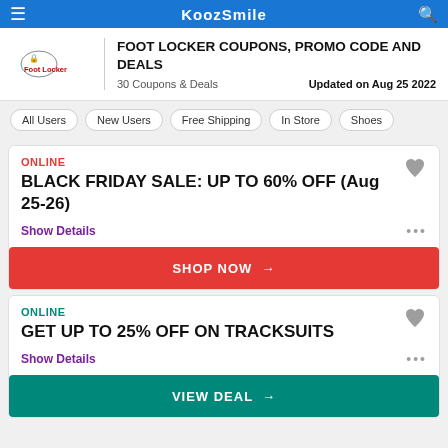KoozSmile
FOOT LOCKER COUPONS, PROMO CODE AND DEALS
30 Coupons & Deals   Updated on Aug 25 2022
All Users
New Users
Free Shipping
In Store
Shoes
ONLINE
BLACK FRIDAY SALE: UP TO 60% OFF (Aug 25-26)
Show Details
SHOP NOW →
ONLINE
GET UP TO 25% OFF ON TRACKSUITS
Show Details
VIEW DEAL →